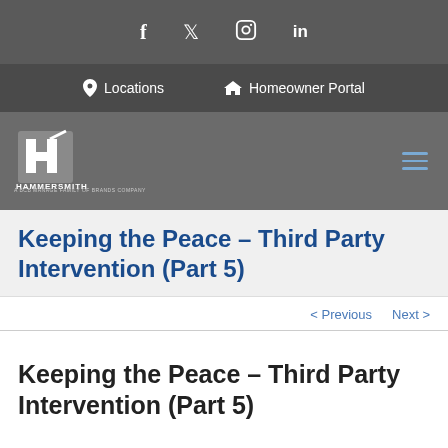f  twitter  instagram  in
Locations  Homeowner Portal
[Figure (logo): Hammersmith logo — stylized H with diagonal slash, text HAMMERSMITH A BCB MANAGE FAMILY OF BRANDS COMPANY]
Keeping the Peace – Third Party Intervention (Part 5)
< Previous   Next >
Keeping the Peace – Third Party Intervention (Part 5)